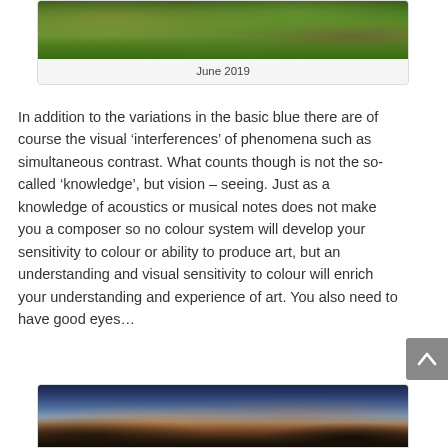[Figure (photo): Aerial or elevated view of a lush garden with green foliage, trees, and a shed/building structure, taken in June 2019]
June 2019
In addition to the variations in the basic blue there are of course the visual ‘interferences’ of phenomena such as simultaneous contrast. What counts though is not the so-called ‘knowledge’, but vision – seeing. Just as a knowledge of acoustics or musical notes does not make you a composer so no colour system will develop your sensitivity to colour or ability to produce art, but an understanding and visual sensitivity to colour will enrich your understanding and experience of art. You also need to have good eyes...
[Figure (photo): Dramatic sunset landscape with silhouetted trees against a colourful orange and blue sky with clouds]